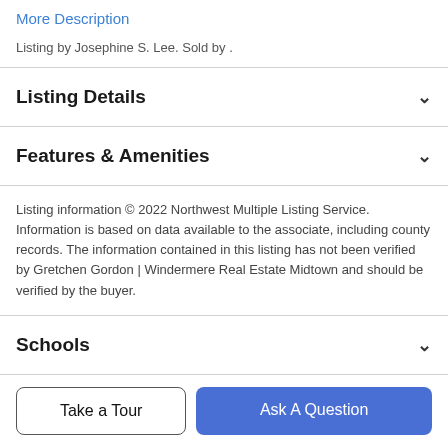More Description
Listing by Josephine S. Lee. Sold by .
Listing Details
Features & Amenities
Listing information © 2022 Northwest Multiple Listing Service. Information is based on data available to the associate, including county records. The information contained in this listing has not been verified by Gretchen Gordon | Windermere Real Estate Midtown and should be verified by the buyer.
Schools
Take a Tour
Ask A Question